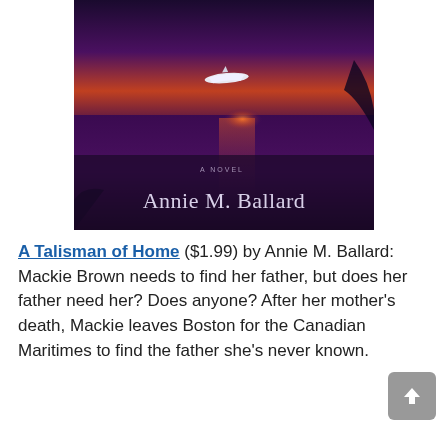[Figure (illustration): Book cover of 'A Talisman of Home' by Annie M. Ballard. Dark purple-toned image of a white boat on calm water with a glowing sunset reflection. Text on cover reads 'A NOVEL' and 'Annie M. Ballard' in large light-colored serif font.]
A Talisman of Home ($1.99) by Annie M. Ballard: Mackie Brown needs to find her father, but does her father need her? Does anyone? After her mother's death, Mackie leaves Boston for the Canadian Maritimes to find the father she's never known.